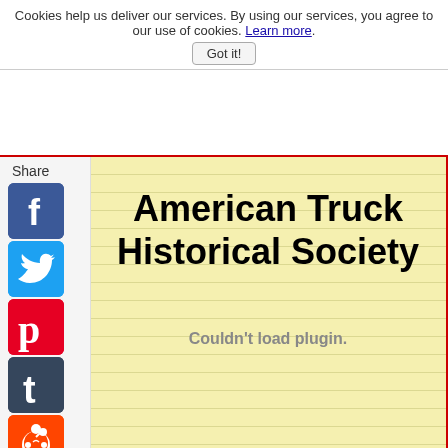Cookies help us deliver our services. By using our services, you agree to our use of cookies. Learn more. Got it!
Share
American Truck Historical Society
Couldn't load plugin.